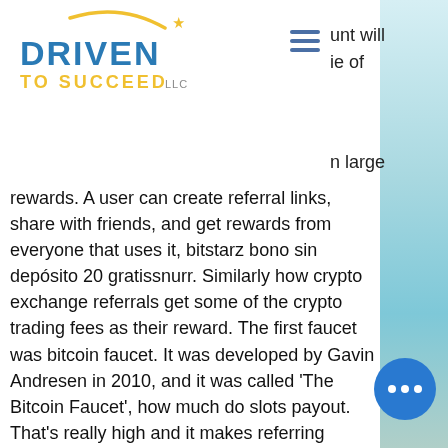[Figure (logo): Driven To Succeed LLC logo with yellow arc and star, blue and yellow text]
unt will
ie of
n large
rewards. A user can create referral links, share with friends, and get rewards from everyone that uses it, bitstarz bono sin depósito 20 gratissnurr. Similarly how crypto exchange referrals get some of the crypto trading fees as their reward. The first faucet was bitcoin faucet. It was developed by Gavin Andresen in 2010, and it was called 'The Bitcoin Faucet', how much do slots payout. That's really high and it makes referring people to Bonus Bitcoin well worth your time, cache https www.bitstarz.com. Keep in mind, that the commission also counts to your interest, that makes it even better. Exchange specific pricing data should be used to calculate the optimal trade as well as the exact placement of the orders.